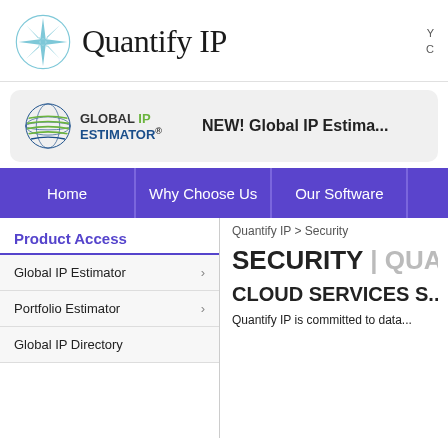[Figure (logo): Quantify IP logo with compass rose icon and text 'Quantify IP' in serif font]
[Figure (logo): Global IP Estimator banner logo with globe icon and green/blue text, with tagline 'NEW! Global IP Estima...']
Home | Why Choose Us | Our Software
Quantify IP > Security
Product Access
Global IP Estimator >
Portfolio Estimator >
Global IP Directory
SECURITY | QUANTI...
CLOUD SERVICES S...
Quantify IP is committed to data...